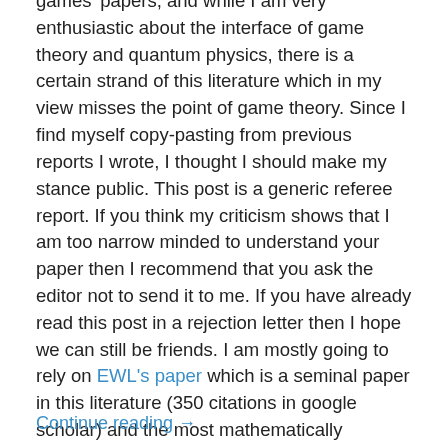games' papers, and while I am very enthusiastic about the interface of game theory and quantum physics, there is a certain strand of this literature which in my view misses the point of game theory. Since I find myself copy-pasting from previous reports I wrote, I thought I should make my stance public. This post is a generic referee report. If you think my criticism shows that I am too narrow minded to understand your paper then I recommend that you ask the editor not to send it to me. If you have already read this post in a rejection letter then I hope we can still be friends. I am mostly going to rely on EWL's paper which is a seminal paper in this literature (350 citations in google scholar) and the most mathematically coherent that I know.
Continue reading →